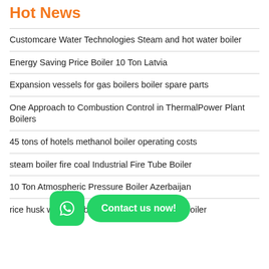Hot News
Customcare Water Technologies Steam and hot water boiler
Energy Saving Price Boiler 10 Ton Latvia
Expansion vessels for gas boilers boiler spare parts
One Approach to Combustion Control in ThermalPower Plant Boilers
45 tons of hotels methanol boiler operating costs
steam boiler fire coal Industrial Fire Tube Boiler
10 Ton Atmospheric Pressure Boiler Azerbaijan
rice husk wet back boiler Industrial Fire Tube Boiler
[Figure (screenshot): WhatsApp contact button overlay with green WhatsApp icon and 'Contact us now!' button]